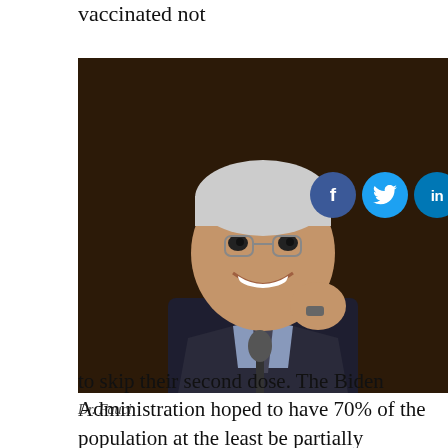vaccinated not
[Figure (photo): Dr. Fauci smiling and gesturing at a hearing, wearing a dark suit, with social media sharing icons overlaid (Facebook, Twitter, LinkedIn, Email, Pinterest)]
Dr. Fauci
to skip their second dose. The Biden Administration hoped to have 70% of the population at the least be partially vaccinated